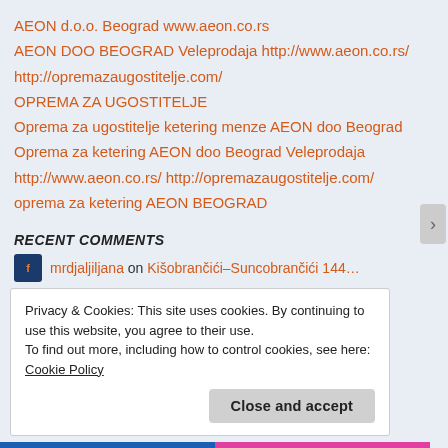AEON d.o.o. Beograd www.aeon.co.rs
AEON DOO BEOGRAD Veleprodaja http://www.aeon.co.rs/
http://opremazaugostitelje.com/
OPREMA ZA UGOSTITELJE
Oprema za ugostitelje ketering menze AEON doo Beograd
Oprema za ketering AEON doo Beograd Veleprodaja
http://www.aeon.co.rs/ http://opremazaugostitelje.com/
oprema za ketering AEON BEOGRAD
RECENT COMMENTS
mrdjaljiljana on Kišobrančići–Suncobrančići 144…
Privacy & Cookies: This site uses cookies. By continuing to use this website, you agree to their use. To find out more, including how to control cookies, see here: Cookie Policy